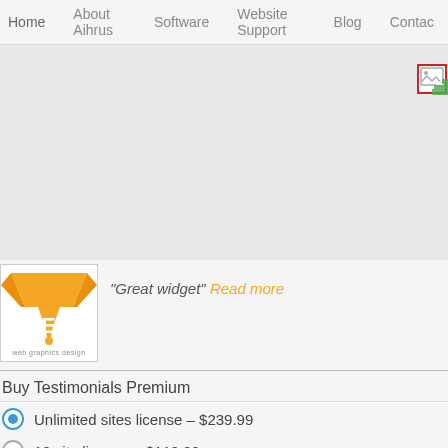Home | About Aihrus | Software | Website Support | Blog | Contact
[Figure (screenshot): Large gray placeholder area with a broken image icon in the upper right]
[Figure (logo): NEESH web graphics design logo — orange trapezoid shape with NEESH text in white]
“Great widget” Read more
Buy Testimonials Premium
Unlimited sites license – $239.99
10 site license – $119.99
2 site license – $59.99